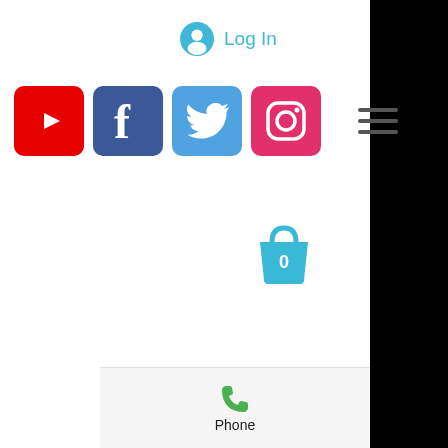[Figure (screenshot): Log In button with user account circle icon in cyan/blue color]
[Figure (screenshot): Social media icons row: YouTube (red), Facebook (blue), Twitter (light blue), Instagram (pink/magenta), and a hamburger menu icon]
[Figure (screenshot): Shopping bag icon in cyan/blue with number 0 inside]
[Figure (screenshot): Phone icon (green handset) with label 'Phone' below, in a light gray footer bar]